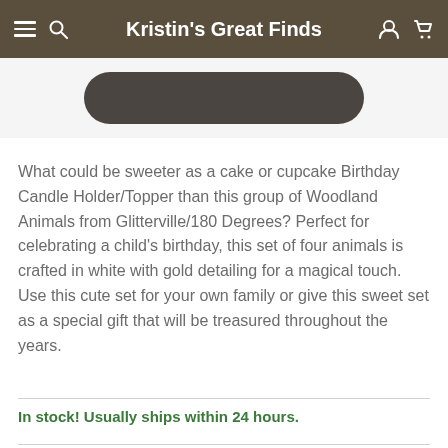Kristin's Great Finds
[Figure (other): Dark rounded button/pill shape, partially cut off at top of page]
What could be sweeter as a cake or cupcake Birthday Candle Holder/Topper than this group of Woodland Animals from Glitterville/180 Degrees? Perfect for celebrating a child's birthday, this set of four animals is crafted in white with gold detailing for a magical touch. Use this cute set for your own family or give this sweet set as a special gift that will be treasured throughout the years.
In stock! Usually ships within 24 hours.